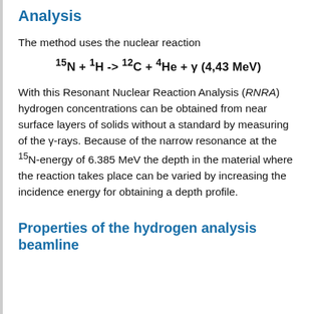Analysis
The method uses the nuclear reaction
With this Resonant Nuclear Reaction Analysis (RNRA) hydrogen concentrations can be obtained from near surface layers of solids without a standard by measuring of the γ-rays. Because of the narrow resonance at the 15N-energy of 6.385 MeV the depth in the material where the reaction takes place can be varied by increasing the incidence energy for obtaining a depth profile.
Properties of the hydrogen analysis beamline